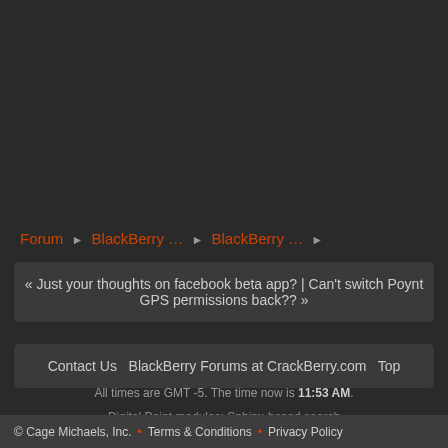Forum › BlackBerry … › BlackBerry … ›
« Just your thoughts on facebook beta app? | Can't switch Poynt GPS permissions back?? »
Contact Us  BlackBerry Forums at CrackBerry.com  Top
All times are GMT -5. The time now is 11:53 AM.
Digital Point modules: Sphinx-based search
© Cage Michaels, Inc.  •  Terms & Conditions  •  Privacy Policy